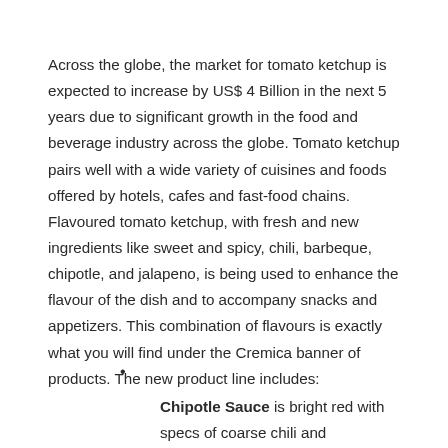Across the globe, the market for tomato ketchup is expected to increase by US$ 4 Billion in the next 5 years due to significant growth in the food and beverage industry across the globe. Tomato ketchup pairs well with a wide variety of cuisines and foods offered by hotels, cafes and fast-food chains. Flavoured tomato ketchup, with fresh and new ingredients like sweet and spicy, chili, barbeque, chipotle, and jalapeno, is being used to enhance the flavour of the dish and to accompany snacks and appetizers. This combination of flavours is exactly what you will find under the Cremica banner of products. The new product line includes:
Chipotle Sauce is bright red with specs of coarse chili and